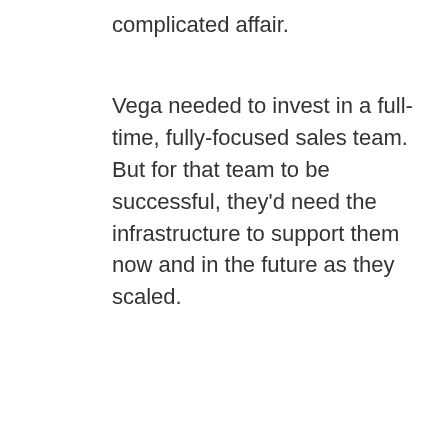complicated affair.
Vega needed to invest in a full-time, fully-focused sales team. But for that team to be successful, they'd need the infrastructure to support them now and in the future as they scaled.